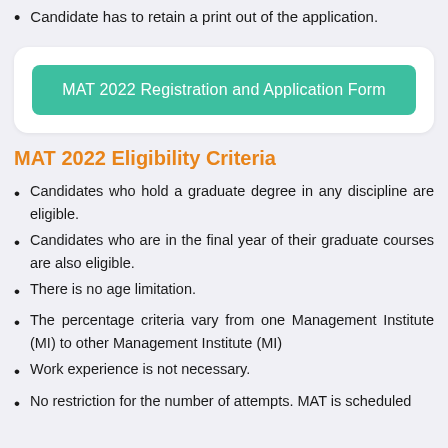Candidate has to retain a print out of the application.
[Figure (other): Green button labeled 'MAT 2022 Registration and Application Form' inside a white rounded card]
MAT 2022 Eligibility Criteria
Candidates who hold a graduate degree in any discipline are eligible.
Candidates who are in the final year of their graduate courses are also eligible.
There is no age limitation.
The percentage criteria vary from one Management Institute (MI) to other Management Institute (MI)
Work experience is not necessary.
No restriction for the number of attempts. MAT is scheduled